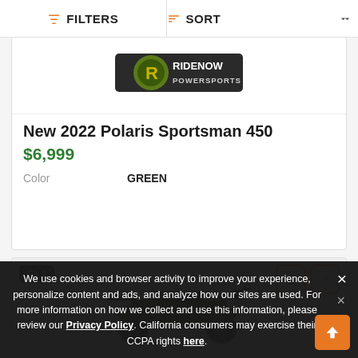FILTERS   SORT
[Figure (logo): RideNow Powersports dealer logo, dark background with green/yellow emblem]
New 2022 Polaris Sportsman 450
$6,999
Color    GREEN
[Figure (photo): Green Polaris ATV / quad with front rack and headlight, viewed from slightly above front-right angle]
We use cookies and browser activity to improve your experience, personalize content and ads, and analyze how our sites are used. For more information on how we collect and use this information, please review our Privacy Policy. California consumers may exercise their CCPA rights here.